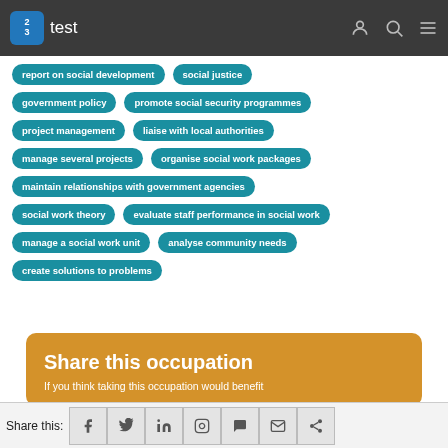test
report on social development
social justice
government policy
promote social security programmes
project management
liaise with local authorities
manage several projects
organise social work packages
maintain relationships with government agencies
social work theory
evaluate staff performance in social work
manage a social work unit
analyse community needs
create solutions to problems
Share this occupation
If you think taking this occupation would benefit
Share this: